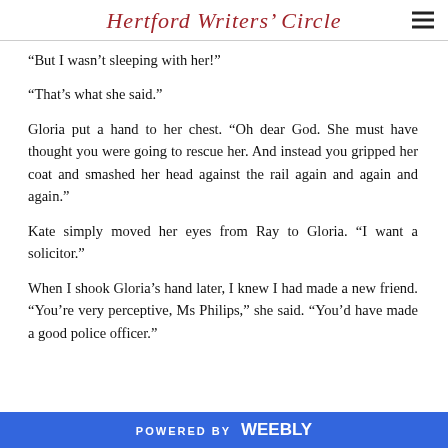Hertford Writers' Circle
“But I wasn’t sleeping with her!”
“That’s what she said.”
Gloria put a hand to her chest. “Oh dear God. She must have thought you were going to rescue her. And instead you gripped her coat and smashed her head against the rail again and again and again.”
Kate simply moved her eyes from Ray to Gloria. “I want a solicitor.”
When I shook Gloria’s hand later, I knew I had made a new friend. “You’re very perceptive, Ms Philips,” she said. “You’d have made a good police officer.”
POWERED BY weebly